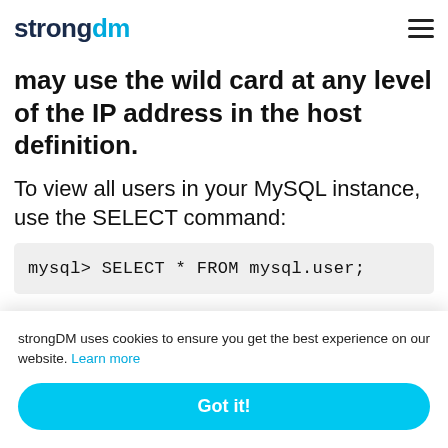strongdm
specifies that the user can access the MySQL instance from any client that has an IP address beginning with `10.0.`
may use the wild card at any level of the IP address in the host definition.
To view all users in your MySQL instance, use the SELECT command:
mysql> SELECT * FROM mysql.user;
M
m
strongDM uses cookies to ensure you get the best experience on our website. Learn more
Got it!